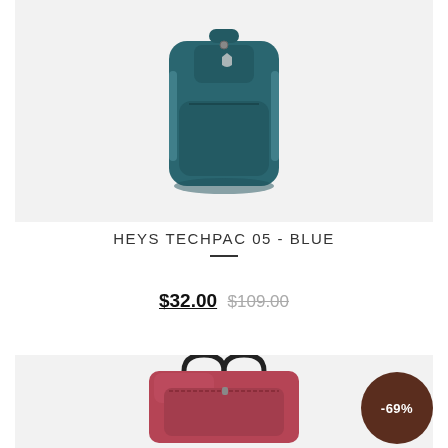[Figure (photo): Teal/dark blue backpack (Heys Techpac 05) on light gray background]
HEYS TECHPAC 05 - BLUE
$32.00  $109.00 (sale price and original crossed-out price)
[Figure (photo): Red/burgundy handbag/backpack on light gray background with -69% discount badge]